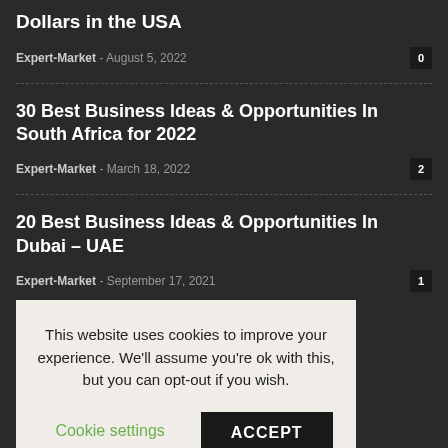Dollars in the USA
Expert-Market - August 5, 2022  0
30 Best Business Ideas & Opportunities In South Africa for 2022
Expert-Market - March 18, 2022  2
20 Best Business Ideas & Opportunities In Dubai – UAE
Expert-Market - September 17, 2021  1
This website uses cookies to improve your experience. We'll assume you're ok with this, but you can opt-out if you wish. Cookie settings ACCEPT
Manufacturing